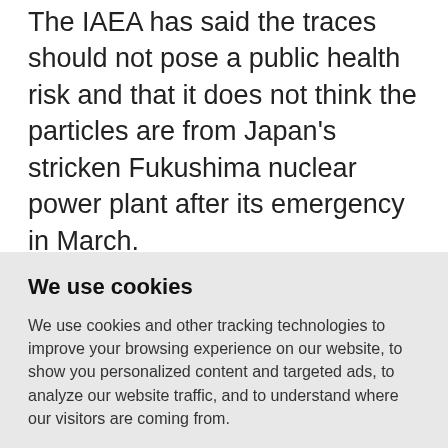The IAEA has said the traces should not pose a public health risk and that it does not think the particles are from Japan's stricken Fukushima nuclear power plant after its emergency in March.

Hungary's Izotop Intezet said it had emitted 300 gigabecquerels (GBq) between January and May and another
We use cookies
We use cookies and other tracking technologies to improve your browsing experience on our website, to show you personalized content and targeted ads, to analyze our website traffic, and to understand where our visitors are coming from.